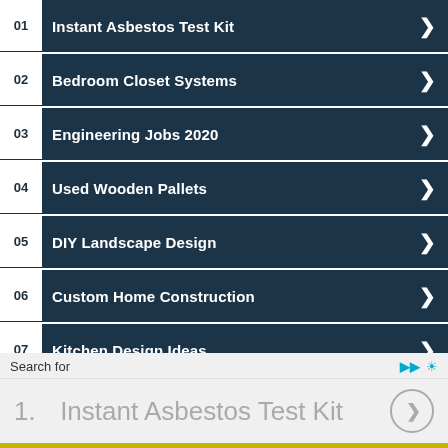01 Instant Asbestos Test Kit
02 Bedroom Closet Systems
03 Engineering Jobs 2020
04 Used Wooden Pallets
05 DIY Landscape Design
06 Custom Home Construction
07 Kitchen Design Ideas
08 Home Construction Tips (partial)
Search for
1. Instant Asbestos Test Kit